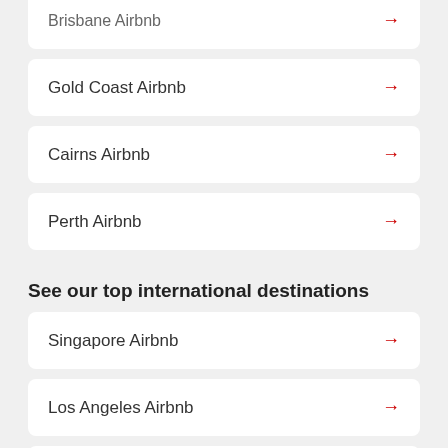Brisbane Airbnb →
Gold Coast Airbnb →
Cairns Airbnb →
Perth Airbnb →
See our top international destinations
Singapore Airbnb →
Los Angeles Airbnb →
Auckland Airbnb →